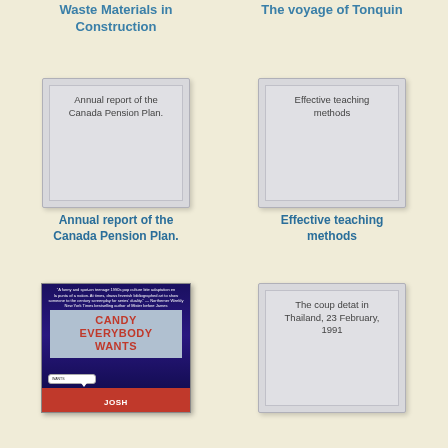Waste Materials in Construction
The voyage of Tonquin
[Figure (illustration): Book cover placeholder for 'Annual report of the Canada Pension Plan.' showing text on grey background]
[Figure (illustration): Book cover placeholder for 'Effective teaching methods' showing text on grey background]
Annual report of the Canada Pension Plan.
Effective teaching methods
[Figure (photo): Book cover of 'Candy Everybody Wants' by Josh, featuring blue/purple background with title in red block letters and a speech bubble]
[Figure (illustration): Book cover placeholder for 'The coup detat in Thailand, 23 February, 1991' showing text on grey background]